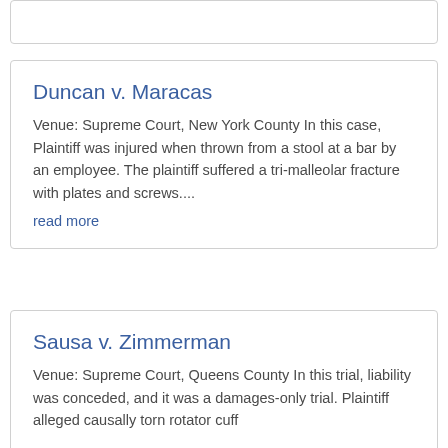Duncan v. Maracas
Venue: Supreme Court, New York County In this case, Plaintiff was injured when thrown from a stool at a bar by an employee. The plaintiff suffered a tri-malleolar fracture with plates and screws....
read more
Sausa v. Zimmerman
Venue: Supreme Court, Queens County In this trial, liability was conceded, and it was a damages-only trial. Plaintiff alleged causally torn rotator cuff